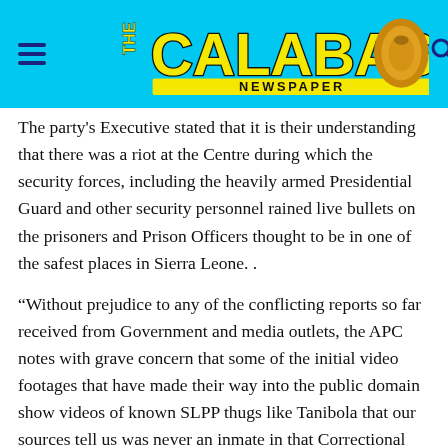THE CALABASH NEWSPAPER
The party's Executive stated that it is their understanding that there was a riot at the Centre during which the security forces, including the heavily armed Presidential Guard and other security personnel rained live bullets on the prisoners and Prison Officers thought to be in one of the safest places in Sierra Leone. .
“Without prejudice to any of the conflicting reports so far received from Government and media outlets, the APC notes with grave concern that some of the initial video footages that have made their way into the public domain show videos of known SLPP thugs like Tanibola that our sources tell us was never an inmate in that Correctional Centre.